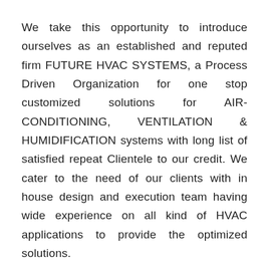We take this opportunity to introduce ourselves as an established and reputed firm FUTURE HVAC SYSTEMS, a Process Driven Organization for one stop customized solutions for AIR-CONDITIONING, VENTILATION & HUMIDIFICATION systems with long list of satisfied repeat Clientele to our credit. We cater to the need of our clients with in house design and execution team having wide experience on all kind of HVAC applications to provide the optimized solutions.
We have successfully executed projects for various applications like Heavy Engineering,